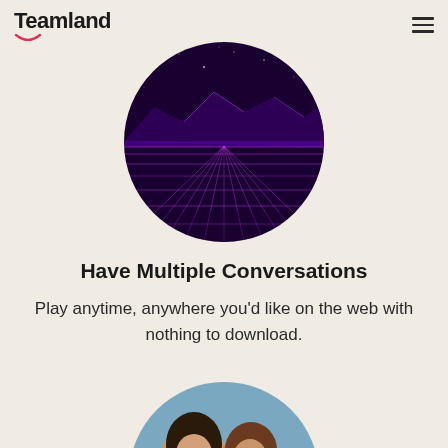Teamland
[Figure (illustration): Circular cropped retro synthwave landscape with purple neon grid lines receding to a mountain horizon under a dark purple starry sky.]
Have Multiple Conversations
Play anytime, anywhere you'd like on the web with nothing to download.
[Figure (photo): Circular cropped photo of two women smiling outdoors.]